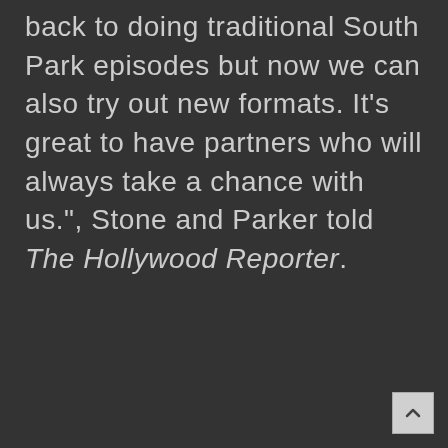back to doing traditional South Park episodes but now we can also try out new formats. It's great to have partners who will always take a chance with us.", Stone and Parker told The Hollywood Reporter.